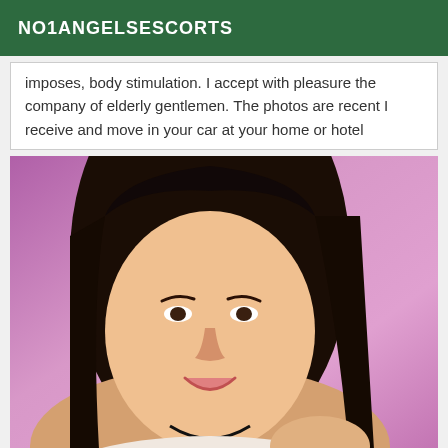NO1ANGELSESCORTS
imposes, body stimulation. I accept with pleasure the company of elderly gentlemen. The photos are recent I receive and move in your car at your home or hotel
[Figure (photo): A woman with long dark hair lying on pink/purple bedding, smiling at the camera, wearing a light-colored top and a black necklace.]